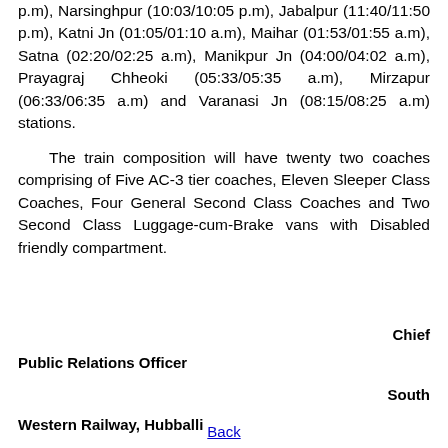p.m), Narsinghpur (10:03/10:05 p.m), Jabalpur (11:40/11:50 p.m), Katni Jn (01:05/01:10 a.m), Maihar (01:53/01:55 a.m), Satna (02:20/02:25 a.m), Manikpur Jn (04:00/04:02 a.m), Prayagraj Chheoki (05:33/05:35 a.m), Mirzapur (06:33/06:35 a.m) and Varanasi Jn (08:15/08:25 a.m) stations.
The train composition will have twenty two coaches comprising of Five AC-3 tier coaches, Eleven Sleeper Class Coaches, Four General Second Class Coaches and Two Second Class Luggage-cum-Brake vans with Disabled friendly compartment.
Chief Public Relations Officer South Western Railway, Hubballi
Back